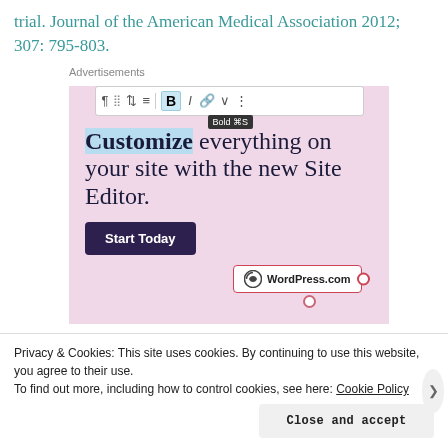trial. Journal of the American Medical Association 2012; 307: 795-803.
[Figure (screenshot): WordPress.com advertisement with toolbar showing Bold button tooltip, text 'Customize everything on your site with the new Site Editor.', Start Today button, and WordPress.com badge on pink background]
Privacy & Cookies: This site uses cookies. By continuing to use this website, you agree to their use. To find out more, including how to control cookies, see here: Cookie Policy
Close and accept